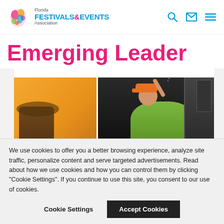Florida Festivals & Events Association
Emerging Leader
[Figure (photo): Photo of a smiling man in an orange cap pouring something, with a food festival/event background showing orange and dark panels]
We use cookies to offer you a better browsing experience, analyze site traffic, personalize content and serve targeted advertisements. Read about how we use cookies and how you can control them by clicking "Cookie Settings". If you continue to use this site, you consent to our use of cookies.
Cookie Settings
Accept Cookies